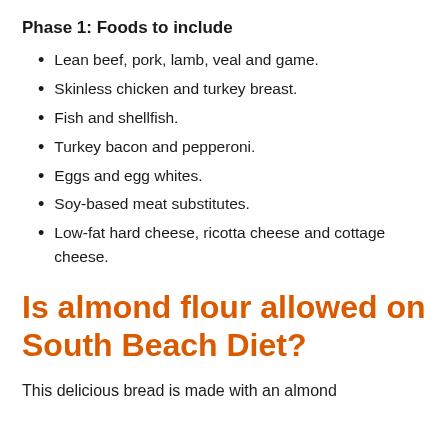Phase 1: Foods to include
Lean beef, pork, lamb, veal and game.
Skinless chicken and turkey breast.
Fish and shellfish.
Turkey bacon and pepperoni.
Eggs and egg whites.
Soy-based meat substitutes.
Low-fat hard cheese, ricotta cheese and cottage cheese.
Is almond flour allowed on South Beach Diet?
This delicious bread is made with an almond flour base (among other ingredients).